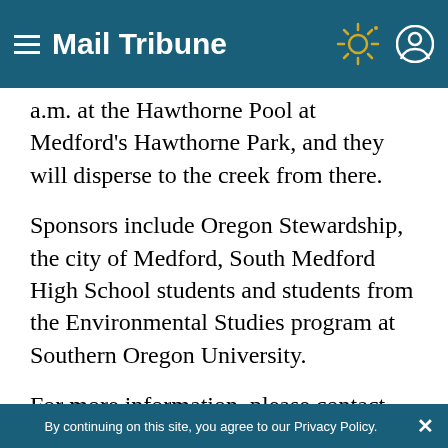Mail Tribune
a.m. at the Hawthorne Pool at Medford's Hawthorne Park, and they will disperse to the creek from there.
Sponsors include Oregon Stewardship, the city of Medford, South Medford High School students and students from the Environmental Studies program at Southern Oregon University.
For more information, please contact Jim Hutchins at 779-3793 or cc3793@charter.net
By continuing on this site, you agree to our Privacy Policy.